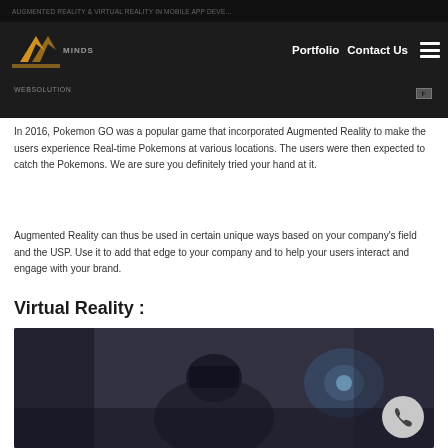Portfolio  Contact Us
In 2016, Pokemon GO was a popular game that incorporated Augmented Reality to make the users experience Real-time Pokemons at various locations. The users were then expected to catch the Pokemons. We are sure you definitely tried your hand at it.
Augmented Reality can thus be used in certain unique ways based on your company's field and the USP. Use it to add that edge to your company and to help your users interact and engage with your brand.
Virtual Reality :
[Figure (photo): A person wearing a VR headset in a dark setting, viewed from behind/side, with a glowing object visible in a dark blue-grey environment]